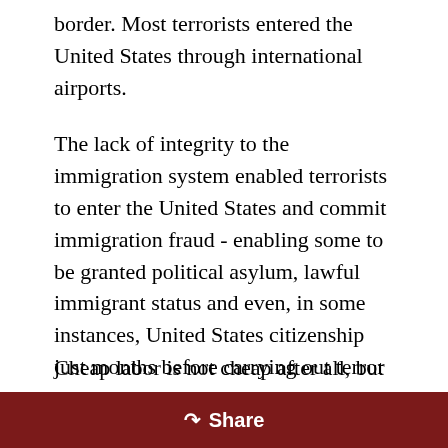border. Most terrorists entered the United States through international airports.
The lack of integrity to the immigration system enabled terrorists to enter the United States and commit immigration fraud - enabling some to be granted political asylum, lawful immigrant status and even, in some instances, United States citizenship just months before carrying out terror attacks.
Cheap labor is not cheap after all, but it comes with an extraordinary price.
Share